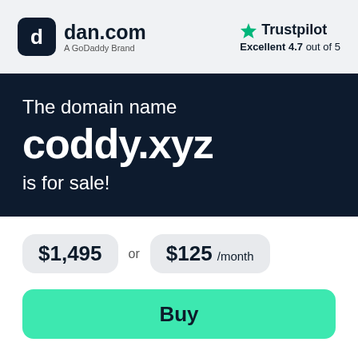[Figure (logo): dan.com logo — rounded square icon with stylized 'd' letter in white on dark navy background, followed by text 'dan.com' and 'A GoDaddy Brand' subtitle]
[Figure (logo): Trustpilot logo — green star icon followed by 'Trustpilot' text, with 'Excellent 4.7 out of 5' rating below]
The domain name coddy.xyz is for sale!
$1,495 or $125 /month
Buy